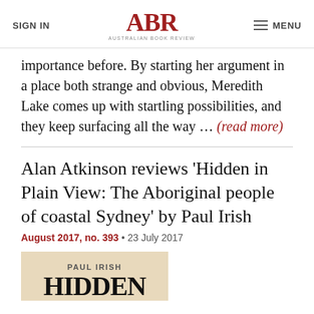SIGN IN | ABR Australian Book Review | MENU
importance before. By starting her argument in a place both strange and obvious, Meredith Lake comes up with startling possibilities, and they keep surfacing all the way ... (read more)
Alan Atkinson reviews 'Hidden in Plain View: The Aboriginal people of coastal Sydney' by Paul Irish
August 2017, no. 393 • 23 July 2017
[Figure (photo): Book cover of 'Hidden in Plain View' by Paul Irish showing a tan/cream background with author name PAUL IRISH and partial title text HIDDEN beginning to appear]